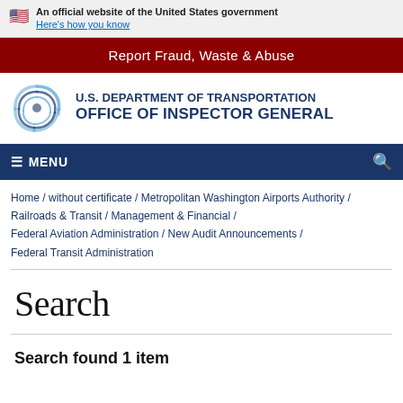An official website of the United States government
Here's how you know
Report Fraud, Waste & Abuse
[Figure (logo): U.S. Department of Transportation Office of Inspector General logo with circular blue swirl emblem]
≡ MENU
Home / without certificate / Metropolitan Washington Airports Authority / Railroads & Transit / Management & Financial / Federal Aviation Administration / New Audit Announcements / Federal Transit Administration
Search
Search found 1 item